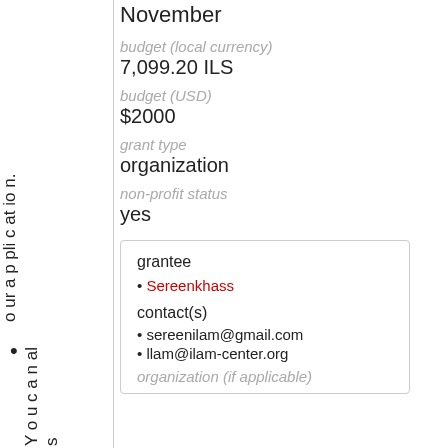o ur a p pli c at io n.
Y o u c a n al s
November
budget (local currency)
7,099.20 ILS
budget (USD)
$2000
grant type
organization
non-profit status
yes
| grantee | contact(s) |
| --- | --- |
| • Sereenkhass | • sereenilam@gmail.com |
|  | • llam@ilam-center.org |
|  | organization (if applicable) |